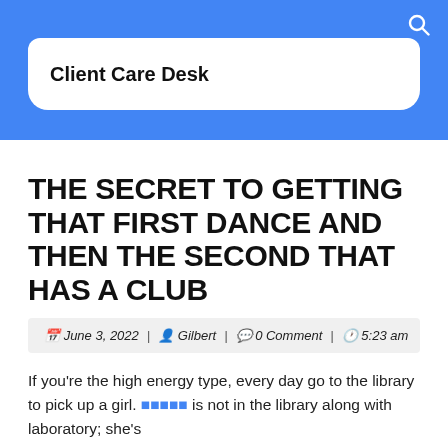Client Care Desk
THE SECRET TO GETTING THAT FIRST DANCE AND THEN THE SECOND THAT HAS A CLUB
June 3, 2022 | Gilbert | 0 Comment | 5:23 am
If you're the high energy type, every day go to the library to pick up a girl. ■■■■■ is not in the library along with laboratory; she's